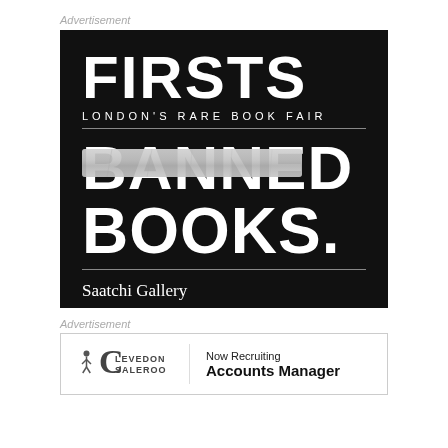Advertisement
[Figure (illustration): Firsts London's Rare Book Fair advertisement on black background. Features large white bold text: FIRSTS, LONDON'S RARE BOOK FAIR, BANNED BOOKS. with a piece of tape crossing out the word BANNED. Below a horizontal rule: Saatchi Gallery, 15–18 September.]
Advertisement
[Figure (illustration): Clevedon Salerooms advertisement. Logo with a small figure and bold C, with text CLEVEDON SALEROOMS. Right side: Now Recruiting / Accounts Manager in bold.]